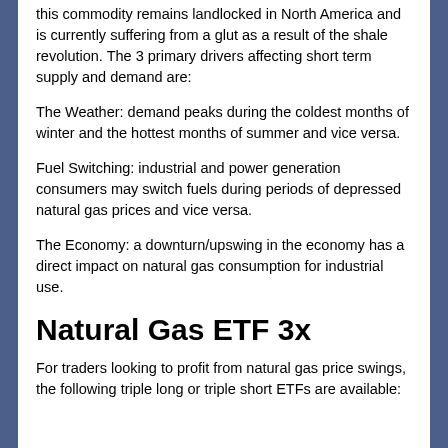this commodity remains landlocked in North America and is currently suffering from a glut as a result of the shale revolution. The 3 primary drivers affecting short term supply and demand are:
The Weather: demand peaks during the coldest months of winter and the hottest months of summer and vice versa.
Fuel Switching: industrial and power generation consumers may switch fuels during periods of depressed natural gas prices and vice versa.
The Economy: a downturn/upswing in the economy has a direct impact on natural gas consumption for industrial use.
Natural Gas ETF 3x
For traders looking to profit from natural gas price swings, the following triple long or triple short ETFs are available: